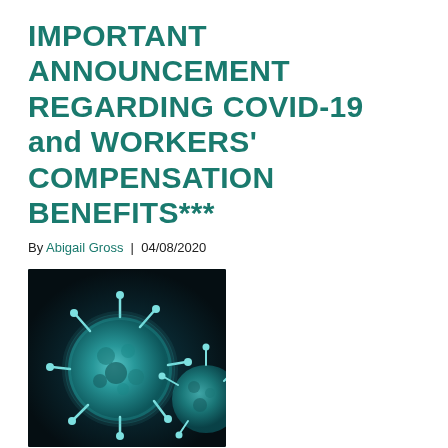IMPORTANT ANNOUNCEMENT REGARDING COVID-19 and WORKERS' COMPENSATION BENEFITS***
By Abigail Gross | 04/08/2020
[Figure (photo): Close-up microscope image of the COVID-19 coronavirus particle, teal/blue tones on dark background]
On March 6, 2020, Governor Tom Wolf issued an emergency